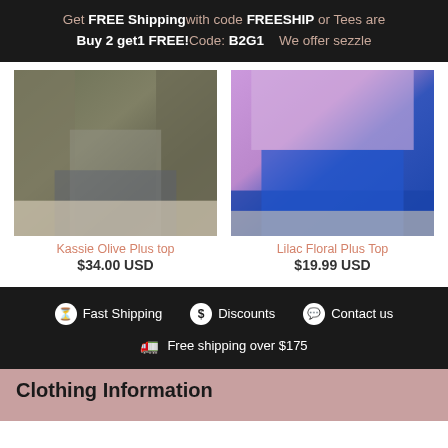Get FREE Shipping with code FREESHIP or Tees are Buy 2 get1 FREE! Code: B2G1   We offer sezzle
[Figure (photo): Woman wearing Kassie Olive Plus top with patterned sleeves and blue jeans, standing against white brick wall]
Kassie Olive Plus top
$34.00 USD
[Figure (photo): Woman wearing Lilac Floral Plus Top with blue jeans, standing against white brick wall]
Lilac Floral Plus Top
$19.99 USD
Fast Shipping   $ Discounts   Contact us   Free shipping over $175
Clothing Information